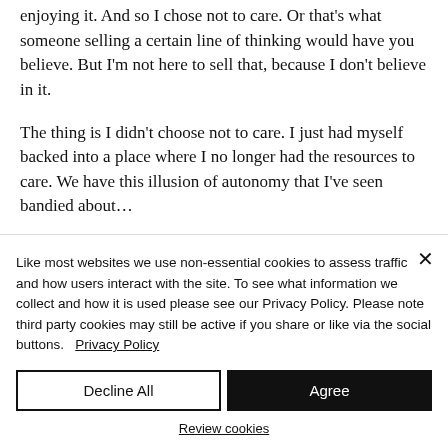enjoying it. And so I chose not to care. Or that's what someone selling a certain line of thinking would have you believe. But I'm not here to sell that, because I don't believe in it.
The thing is I didn't choose not to care. I just had myself backed into a place where I no longer had the resources to care. We have this illusion of autonomy that I've seen bandied about...
Like most websites we use non-essential cookies to assess traffic and how users interact with the site. To see what information we collect and how it is used please see our Privacy Policy. Please note third party cookies may still be active if you share or like via the social buttons.   Privacy Policy
Decline All
Agree
Review cookies